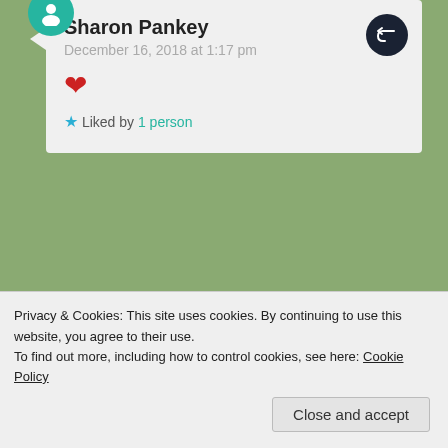Sharon Pankey
December 16, 2018 at 1:17 pm
❤
★ Liked by 1 person
JOY journal
December 17, 2018 at 5:21 pm
Sharon, thanks for the nomination. It may take me a day or two to post something. I'm
Privacy & Cookies: This site uses cookies. By continuing to use this website, you agree to their use.
To find out more, including how to control cookies, see here: Cookie Policy
Close and accept